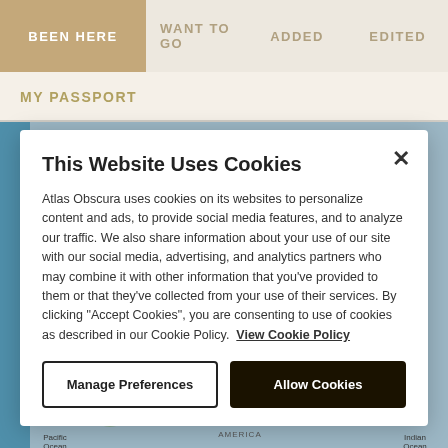BEEN HERE | WANT TO GO | ADDED | EDITED
MY PASSPORT
[Figure (screenshot): World map background (blue ocean, green landmasses) visible behind a cookie consent modal dialog]
This Website Uses Cookies
Atlas Obscura uses cookies on its websites to personalize content and ads, to provide social media features, and to analyze our traffic. We also share information about your use of our site with our social media, advertising, and analytics partners who may combine it with other information that you've provided to them or that they've collected from your use of their services. By clicking "Accept Cookies", you are consenting to use of cookies as described in our Cookie Policy. View Cookie Policy
Manage Preferences
Allow Cookies